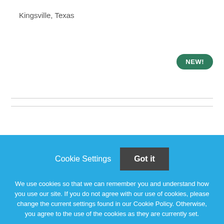Kingsville, Texas
[Figure (logo): BJC HealthCare Logo placeholder image]
Physical Therapist - Home Health
BJC HealthCare
Cookie Settings
Got it
We use cookies so that we can remember you and understand how you use our site. If you do not agree with our use of cookies, please change the current settings found in our Cookie Policy. Otherwise, you agree to the use of the cookies as they are currently set.